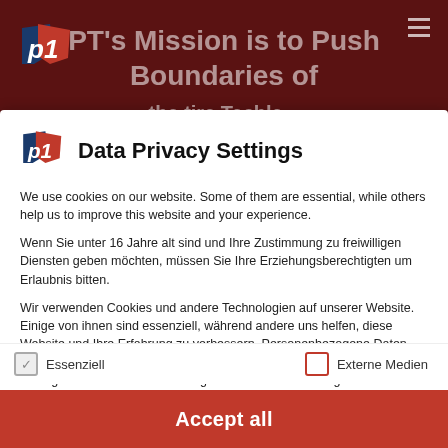[Figure (screenshot): Dark maroon background header with PT1 logo and partially visible bold white text reading 'PT's Mission is to Push Boundaries of' and hamburger menu icon]
Data Privacy Settings
We use cookies on our website. Some of them are essential, while others help us to improve this website and your experience.
Wenn Sie unter 16 Jahre alt sind und Ihre Zustimmung zu freiwilligen Diensten geben möchten, müssen Sie Ihre Erziehungsberechtigten um Erlaubnis bitten.
Wir verwenden Cookies und andere Technologien auf unserer Website. Einige von ihnen sind essenziell, während andere uns helfen, diese Website und Ihre Erfahrung zu verbessern. Personenbezogene Daten können verarbeitet werden (z. B. IP-Adressen), z. B. für personalisierte Anzeigen und Inhalte oder Anzeigen- und Inhaltsmessung. Weitere Informationen über die
✓ Essenziell
☐ Externe Medien
Accept all